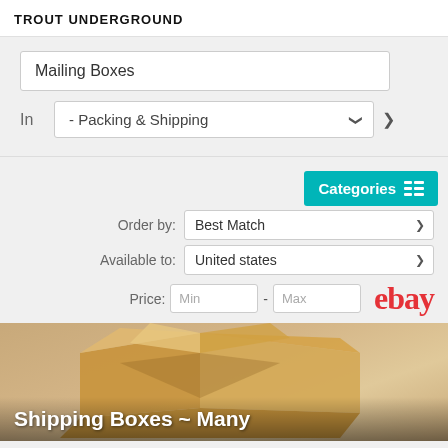TROUT UNDERGROUND
Mailing Boxes
In - Packing & Shipping
Categories
Order by: Best Match
Available to: United states
Price: Min - Max
ebay
[Figure (photo): Open cardboard shipping/mailing box with text overlay 'Shipping Boxes ~ Many']